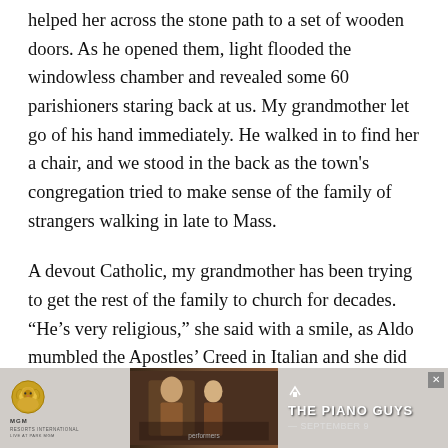helped her across the stone path to a set of wooden doors. As he opened them, light flooded the windowless chamber and revealed some 60 parishioners staring back at us. My grandmother let go of his hand immediately. He walked in to find her a chair, and we stood in the back as the town's congregation tried to make sense of the family of strangers walking in late to Mass.
A devout Catholic, my grandmother has been trying to get the rest of the family to church for decades. “He’s very religious,” she said with a smile, as Aldo mumbled the Apostles’ Creed in Italian and she did the same in Portuguese. When it came time for the traditional peace offering, he held her hand again, but she pulled it away after a few seconds. She had been waiting for this moment for months, but the sudden audience made her nervous.
[Figure (other): MGM Resorts advertisement banner featuring The Piano Guys, September 9. Shows MGM lion logo on left, photo of performers in center, and text 'THE PIANO GUYS — SEPTEMBER 9' on right with a close button.]